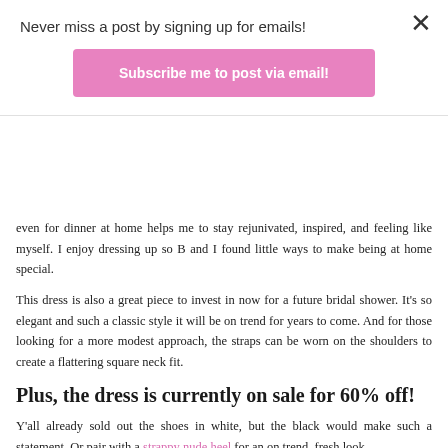Never miss a post by signing up for emails!
Subscribe me to post via email!
even for dinner at home helps me to stay rejunivated, inspired, and feeling like myself. I enjoy dressing up so B and I found little ways to make being at home special.
This dress is also a great piece to invest in now for a future bridal shower. It's so elegant and such a classic style it will be on trend for years to come. And for those looking for a more modest approach, the straps can be worn on the shoulders to create a flattering square neck fit.
Plus, the dress is currently on sale for 60% off!
Y'all already sold out the shoes in white, but the black would make such a statement. Or pair with a strappy nude heel for an on trend, fresh look.